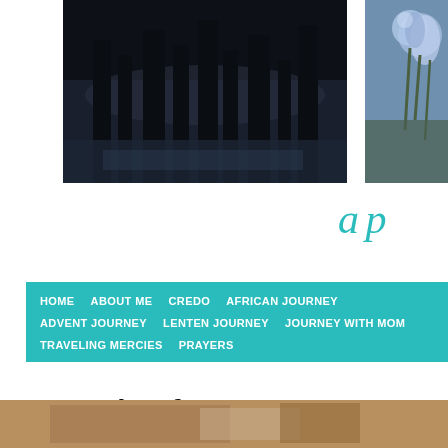[Figure (photo): Dark silhouette of plants/leaves against a water background at dusk/sunset]
[Figure (photo): Close-up of purple/blue agapanthus flowers with green stems]
a p
HOME   ABOUT ME   CREDO   AFRICAN JOURNEY   ADVENT JOURNEY   LENTEN JOURNEY   JOURNEY WITH MOM   TRAVELING MERCIES   PRAYERS
Longing for Home: An Advent Journey, 2016 — Day Seven
DECEMBER 3, 2016 BY DIANA
[Figure (photo): Partial view of a photo at the bottom of the page]